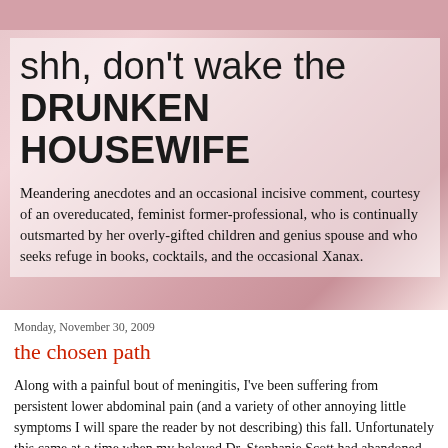shh, don't wake the DRUNKEN HOUSEWIFE
Meandering anecdotes and an occasional incisive comment, courtesy of an overeducated, feminist former-professional, who is continually outsmarted by her overly-gifted children and genius spouse and who seeks refuge in books, cocktails, and the occasional Xanax.
Monday, November 30, 2009
the chosen path
Along with a painful bout of meningitis, I've been suffering from persistent lower abdominal pain (and a variety of other annoying little symptoms I will spare the reader by not describing) this fall. Unfortunately this came at a time when my beloved Dr. Stephanie Scott had abandoned her patients, leaving the world of private practice in San